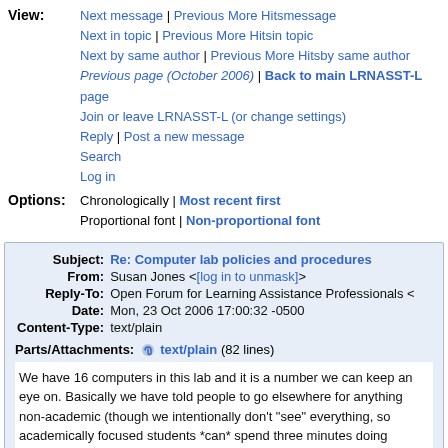View: Next message | Previous More Hitsmessage
Next in topic | Previous More Hitsin topic
Next by same author | Previous More Hitsby same author
Previous page (October 2006) | Back to main LRNASST-L page
Join or leave LRNASST-L (or change settings)
Reply | Post a new message
Search
Log in
Options: Chronologically | Most recent first
Proportional font | Non-proportional font
| Subject: | Re: Computer lab policies and procedures |
| From: | Susan Jones <[log in to unmask]> |
| Reply-To: | Open Forum for Learning Assistance Professionals < |
| Date: | Mon, 23 Oct 2006 17:00:32 -0500 |
| Content-Type: | text/plain |
Parts/Attachments: text/plain (82 lines)
We have 16 computers in this lab and it is a number we can keep an eye on. Basically we have told people to go elsewhere for anything non-academic (though we intentionally don't "see" everything, so academically focused students *can* spend three minutes doing something else on occasion).
Maybe it's because there are places with less supervision, but if anything, students expect stricter standards than we have ("can I check